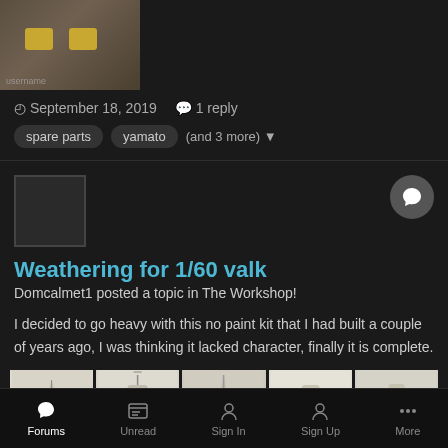[Figure (photo): Partial top thumbnail image of a robot/mecha toy with yellow eyes visible, brownish tones]
September 18, 2019   1 reply
spare parts   yamato   (and 3 more)
[Figure (photo): Small avatar/profile box placeholder (empty gray square with border)]
Weathering for 1/60 valk
Domcalmet1 posted a topic in The Workshop!
I decided to go heavy with this no paint kit that I had built a couple of years ago, I was thinking it lacked character, finally it is complete.
[Figure (photo): Gallery of 5 photos showing a weathered 1/60 scale Valkyrie (valk) model in various poses: side flying pose, front standing, top-down in fighter mode, front standing wider, and side view with wings.]
Forums   Unread   Sign In   Sign Up   More